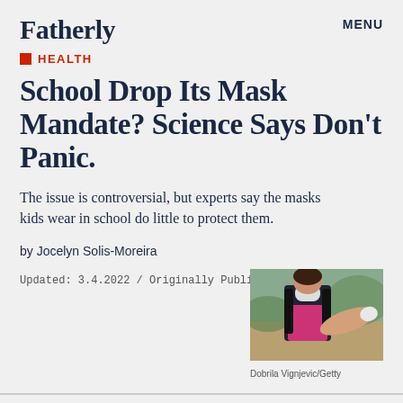Fatherly
HEALTH
School Drop Its Mask Mandate? Science Says Don't Panic.
The issue is controversial, but experts say the masks kids wear in school do little to protect them.
by Jocelyn Solis-Moreira
Updated: 3.4.2022 / Originally Published: 3.4.2022
[Figure (photo): Child from behind wearing a dark backpack, outdoors]
Dobrila Vignjevic/Getty
s COVID cases fall, more and more